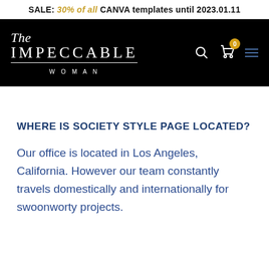SALE: 30% of all CANVA templates until 2023.01.11
[Figure (logo): The Impeccable Woman logo with script 'The' above bold serif 'IMPECCABLE' with 'WOMAN' below, on black background with search, cart (badge 0), and hamburger menu icons]
WHERE IS SOCIETY STYLE PAGE LOCATED?
Our office is located in Los Angeles, California. However our team constantly travels domestically and internationally for swoonworty projects.